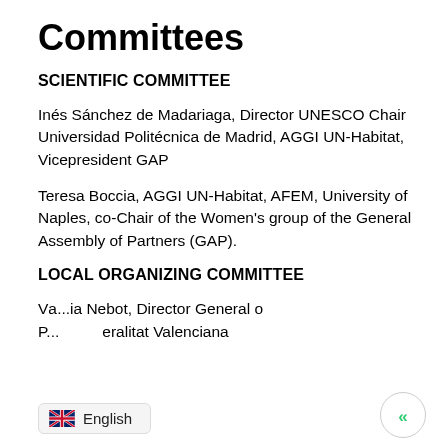Committees
SCIENTIFIC COMMITTEE
Inés Sánchez de Madariaga, Director UNESCO Chair Universidad Politécnica de Madrid, AGGI UN-Habitat, Vicepresident GAP
Teresa Boccia, AGGI UN-Habitat, AFEM, University of Naples, co-Chair of the Women's group of the General Assembly of Partners (GAP).
LOCAL ORGANIZING COMMITTEE
Va...ia Nebot, Director General o... P... eralitat Valenciana